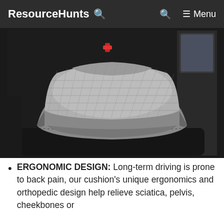ResourceHunts 🔍   🔍   ☰ Menu
[Figure (photo): A gray ergonomic seat cushion with a textured diamond-pattern fabric surface placed on a black leather car seat interior. The cushion has a contoured shape with raised front edges and a recessed back section. Red seat belt buckle visible in background.]
ERGONOMIC DESIGN: Long-term driving is prone to back pain, our cushion's unique ergonomics and orthopedic design help relieve sciatica, pelvis, cheekbones or